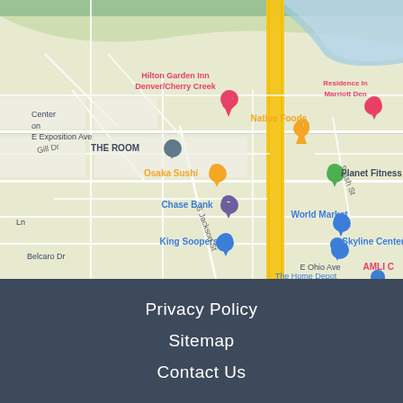[Figure (map): Google Maps view of Denver/Cherry Creek area showing landmarks including Hilton Garden Inn Denver/Cherry Creek, Residence Inn Marriott Denver, Native Foods, THE ROOM, Osaka Sushi, Planet Fitness, Chase Bank, World Market, King Soopers, Skyline Center, AMLI, E Ohio Ave, Belcaro Dr, E Exposition Ave, Gill Dr, S Jackson St, S Ash St. A vertical yellow road (highway) runs through the center of the map.]
Privacy Policy
Sitemap
Contact Us